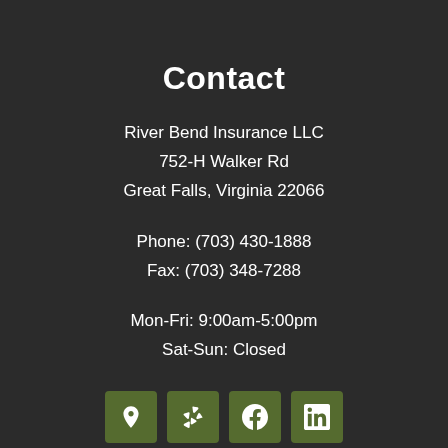Contact
River Bend Insurance LLC
752-H Walker Rd
Great Falls, Virginia 22066
Phone: (703) 430-1888
Fax: (703) 348-7288
Mon-Fri: 9:00am-5:00pm
Sat-Sun: Closed
[Figure (infographic): Four green square icon buttons in a row: map pin (location), Yelp burst star, Facebook f, LinkedIn in]
Insurance